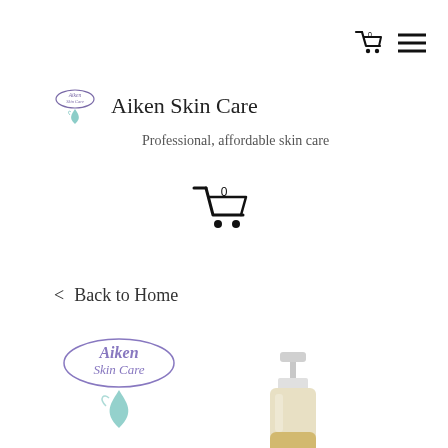[Figure (screenshot): Shopping cart icon with '0' badge and hamburger menu icon in top right navigation]
[Figure (logo): Aiken Skin Care small logo (cursive script with leaf/heart motif in purple/teal)]
Aiken Skin Care
Professional, affordable skin care
[Figure (illustration): Large shopping cart icon with '0' label, centered on page]
< Back to Home
[Figure (logo): Large Aiken Skin Care logo (cursive script with decorative leaf/heart motif in purple/teal)]
[Figure (photo): Product bottle with white pump dispenser top, amber/golden liquid visible at bottom — skin care product]